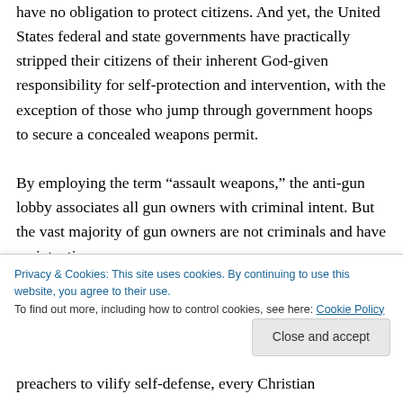have no obligation to protect citizens. And yet, the United States federal and state governments have practically stripped their citizens of their inherent God-given responsibility for self-protection and intervention, with the exception of those who jump through government hoops to secure a concealed weapons permit. By employing the term “assault weapons,” the anti-gun lobby associates all gun owners with criminal intent. But the vast majority of gun owners are not criminals and have no intentions
Privacy & Cookies: This site uses cookies. By continuing to use this website, you agree to their use. To find out more, including how to control cookies, see here: Cookie Policy
preachers to vilify self-defense, every Christian